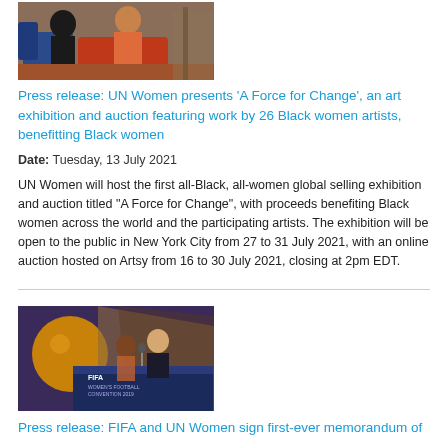[Figure (photo): Two people sitting in chairs in a studio setting with colorful furniture]
Press release: UN Women presents 'A Force for Change', an art exhibition and auction featuring work by 26 Black women artists, benefitting Black women
Date: Tuesday, 13 July 2021
UN Women will host the first all-Black, all-women global selling exhibition and auction titled "A Force for Change", with proceeds benefiting Black women across the world and the participating artists. The exhibition will be open to the public in New York City from 27 to 31 July 2021, with an online auction hosted on Artsy from 16 to 30 July 2021, closing at 2pm EDT.
[Figure (photo): Two people standing at a podium at the FIFA Women's Football Convention 2019]
Press release: FIFA and UN Women sign first-ever memorandum of